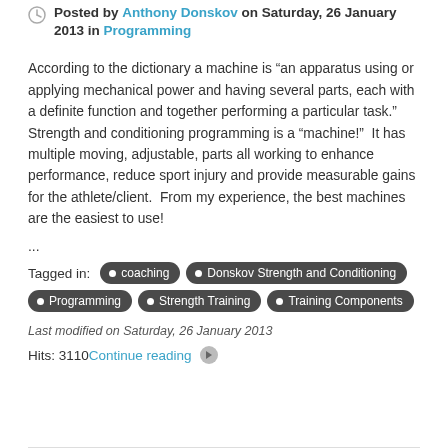Posted by Anthony Donskov on Saturday, 26 January 2013 in Programming
According to the dictionary a machine is “an apparatus using or applying mechanical power and having several parts, each with a definite function and together performing a particular task.” Strength and conditioning programming is a “machine!”  It has multiple moving, adjustable, parts all working to enhance performance, reduce sport injury and provide measurable gains for the athlete/client.  From my experience, the best machines are the easiest to use!
...
Tagged in:  coaching  Donskov Strength and Conditioning  Programming  Strength Training  Training Components
Last modified on Saturday, 26 January 2013
Hits: 3110 Continue reading